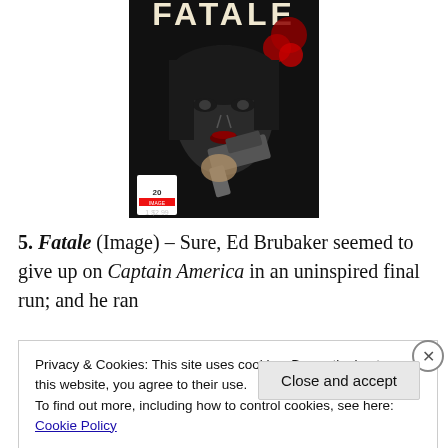[Figure (illustration): Comic book cover of 'Fatale' by Image Comics, showing a woman with dark hair and red flowers holding a gun, in black-and-white with red accents. The Image 20th anniversary logo is visible at the bottom left.]
5. Fatale (Image) – Sure, Ed Brubaker seemed to give up on Captain America in an uninspired final run; and he ran
Privacy & Cookies: This site uses cookies. By continuing to use this website, you agree to their use.
To find out more, including how to control cookies, see here: Cookie Policy
Close and accept